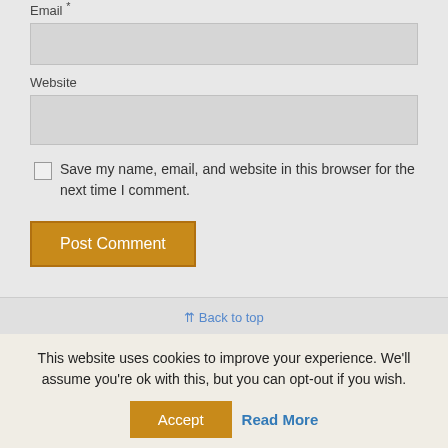Email *
Website
Save my name, email, and website in this browser for the next time I comment.
Post Comment
⇈ Back to top
This website uses cookies to improve your experience. We'll assume you're ok with this, but you can opt-out if you wish.
Accept
Read More